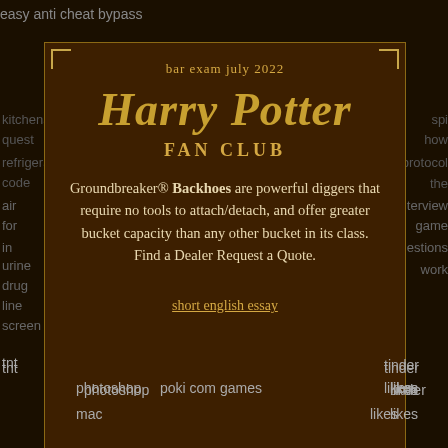easy anti cheat bypass
[Figure (infographic): Harry Potter Fan Club modal box on dark background. Brown box with gold border and corner decorations. Contains 'bar exam july 2022' subtitle, 'Harry Potter FAN CLUB' title in gold stylized font, body text about Groundbreaker Backhoes, and a 'short english essay' link.]
kitchenaid quest refrigerator code air for in urine drug line screen
spi how protocol the interview game questions work
tnt under photoshop poki com games likes mac